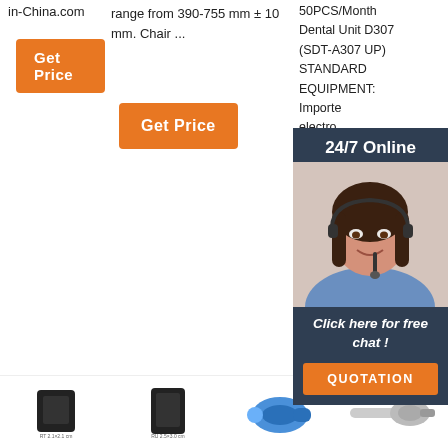in-China.com
Get Price
range from 390-755 mm ± 10 mm. Chair ...
Get Price
50PCS/Month Dental Unit D307 (SDT-A307 UP) STANDARD EQUIPMENT: Imported electro LINAK motor (synch - 1 set spittoo and cu control - ...
[Figure (photo): Chat support agent photo with headset, smiling woman]
24/7 Online
Click here for free chat !
QUOTATION
Get Price
[Figure (logo): TOP button with orange dots above and text TOP in orange]
[Figure (photo): Bottom row product thumbnails: small black device RT 2.1x2.1cm, black device RU 2.5x3.0cm, blue dental handpiece, dental handpiece]